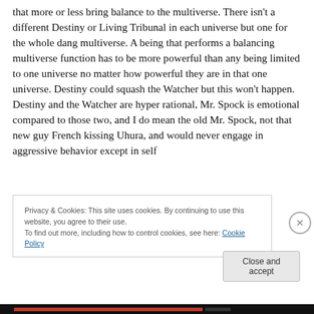that more or less bring balance to the multiverse. There isn't a different Destiny or Living Tribunal in each universe but one for the whole dang multiverse. A being that performs a balancing multiverse function has to be more powerful than any being limited to one universe no matter how powerful they are in that one universe. Destiny could squash the Watcher but this won't happen. Destiny and the Watcher are hyper rational, Mr. Spock is emotional compared to those two, and I do mean the old Mr. Spock, not that new guy French kissing Uhura, and would never engage in aggressive behavior except in self
Privacy & Cookies: This site uses cookies. By continuing to use this website, you agree to their use.
To find out more, including how to control cookies, see here: Cookie Policy
Close and accept